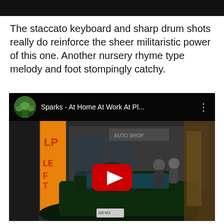The staccato keyboard and sharp drum shots really do reinforce the sheer militaristic power of this one. Another nursery rhyme type melody and foot stompingly catchy.
[Figure (screenshot): Embedded YouTube video player showing 'Sparks - At Home At Work At Pl...' with a vintage photo of people near a classic car in front of a shop with an orange LP sign. A red YouTube play button is visible in the center.]